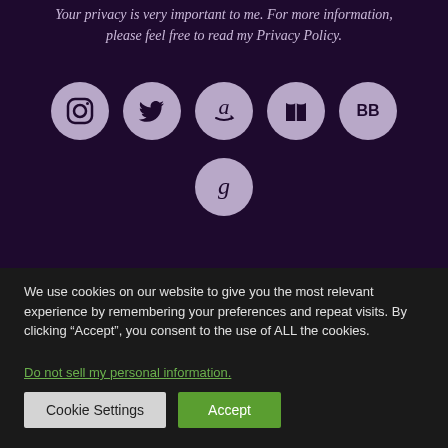Your privacy is very important to me. For more information, please feel free to read my Privacy Policy.
[Figure (infographic): Row of five circular social media icons (Instagram, Twitter, Amazon, Apple Books, BookBub) and a second row with one Goodreads icon, all on dark purple background]
We use cookies on our website to give you the most relevant experience by remembering your preferences and repeat visits. By clicking “Accept”, you consent to the use of ALL the cookies.
Do not sell my personal information.
Cookie Settings   Accept